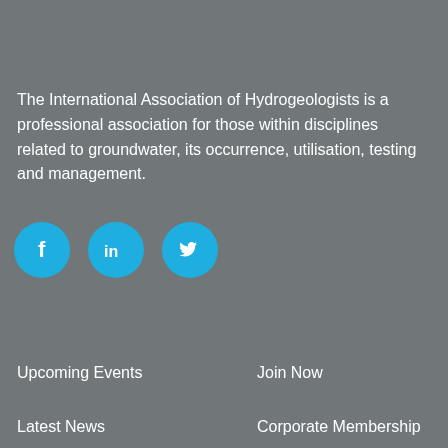The International Association of Hydrogeologists is a professional association for those within disciplines related to groundwater, its occurrence, utilisation, testing and management.
[Figure (infographic): Three circular social media icon buttons: Facebook (f), LinkedIn (in), and Twitter (bird icon), each with a cyan/blue background.]
Upcoming Events
Join Now
Latest News
Corporate Membership